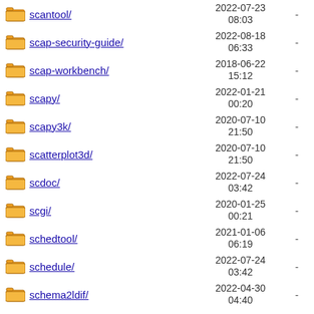scantool/ 2022-07-23 08:03 -
scap-security-guide/ 2022-08-18 06:33 -
scap-workbench/ 2018-06-22 15:12 -
scapy/ 2022-01-21 00:20 -
scapy3k/ 2020-07-10 21:50 -
scatterplot3d/ 2020-07-10 21:50 -
scdoc/ 2022-07-24 03:42 -
scgi/ 2020-01-25 00:21 -
schedtool/ 2021-01-06 06:19 -
schedule/ 2022-07-24 03:42 -
schema2ldif/ 2022-04-30 04:40 -